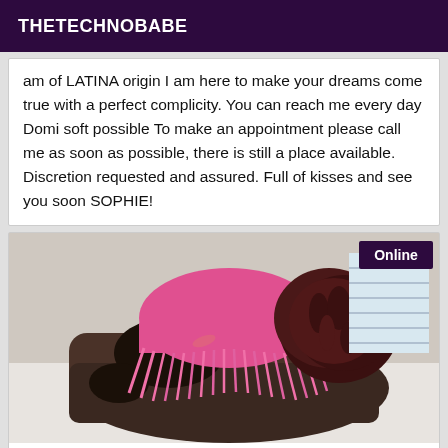THETECHNOBABE
am of LATINA origin I am here to make your dreams come true with a perfect complicity. You can reach me every day Domi soft possible To make an appointment please call me as soon as possible, there is still a place available. Discretion requested and assured. Full of kisses and see you soon SOPHIE!
[Figure (photo): Photo of a person bending over a dark brown leather couch, wearing a pink fringe top and pink bracelet, with dark reddish braided hair. An 'Online' badge appears in the top right corner.]
proposes my black wife